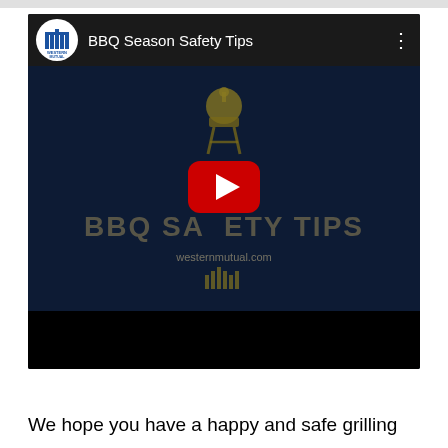[Figure (screenshot): YouTube video thumbnail/screenshot showing 'BBQ Season Safety Tips' video from Western Mutual insurance. The video header shows the Western Mutual logo (circular icon with blue building/columns design) and the title 'BBQ Season Safety Tips'. The video content area shows a dark navy background with a golden BBQ grill icon, a red YouTube play button in the center, large text reading 'BBQ SAFETY TIPS' in dark gold/olive color, 'westernmutual.com' text below, and a Western Mutual logo at the bottom. Below the video is a black bar.]
We hope you have a happy and safe grilling